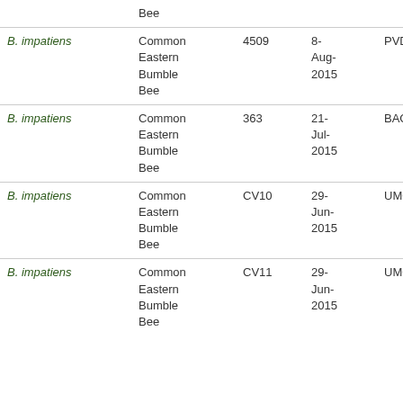| Species | Common Name | ID | Date | Code |  |
| --- | --- | --- | --- | --- | --- |
|  | Bee |  |  |  |  |
| B. impatiens | Common Eastern Bumble Bee | 4509 | 8-Aug-2015 | PVD516 |  |
| B. impatiens | Common Eastern Bumble Bee | 363 | 21-Jul-2015 | BAG007 |  |
| B. impatiens | Common Eastern Bumble Bee | CV10 | 29-Jun-2015 | UMO005 |  |
| B. impatiens | Common Eastern Bumble Bee | CV11 | 29-Jun-2015 | UMO005 |  |